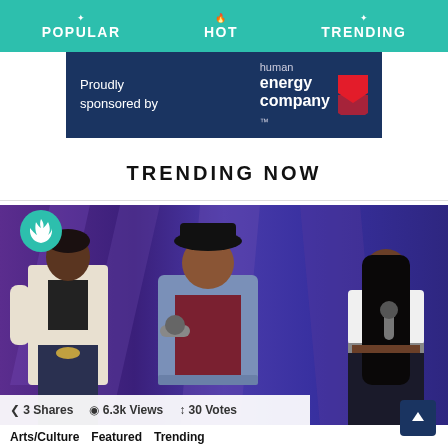POPULAR   HOT   TRENDING
[Figure (infographic): Sponsor banner: dark blue background, 'Proudly sponsored by' text on left, 'human energy company' logo with red chevron on right]
TRENDING NOW
[Figure (photo): Three women performers on a stage with blue background lighting. Left: woman in white jacket and jeans. Center: larger woman in cowboy hat, denim jacket over burgundy dress holding microphone. Right: young woman in white crop top and dark jeans holding microphone. Green flame badge in top-left corner.]
3 Shares   6.3k Views   30 Votes
Arts/Culture   Featured   Trending